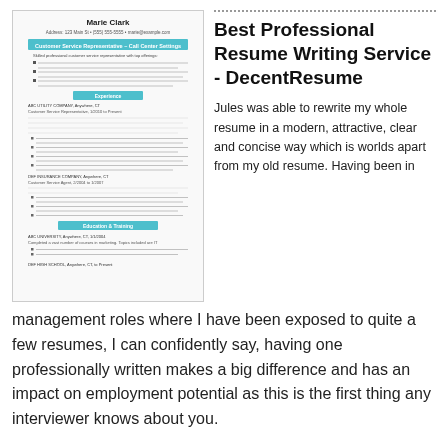[Figure (illustration): Thumbnail image of a professional resume document for Marie Clark, showing work experience, customer service roles, and education sections in small text with teal/aqua colored section headers.]
Best Professional Resume Writing Service - DecentResume
Jules was able to rewrite my whole resume in a modern, attractive, clear and concise way which is worlds apart from my old resume. Having been in management roles where I have been exposed to quite a few resumes, I can confidently say, having one professionally written makes a big difference and has an impact on employment potential as this is the first thing any interviewer knows about you.
[Figure (infographic): Promotional banner with pink and teal sections reading 'GET YOUR RESUME DONE:' with bullet points listing benefits, and a photo of a man in a suit.]
READ MORE
Resume Writers & Services | Top 5